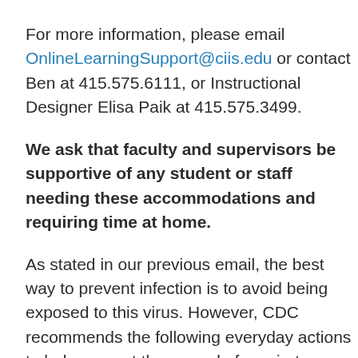For more information, please email OnlineLearningSupport@ciis.edu or contact Ben at 415.575.6111, or Instructional Designer Elisa Paik at 415.575.3499.
We ask that faculty and supervisors be supportive of any student or staff needing these accommodations and requiring time at home.
As stated in our previous email, the best way to prevent infection is to avoid being exposed to this virus. However, CDC recommends the following everyday actions to help prevent the spread of respiratory viruses: